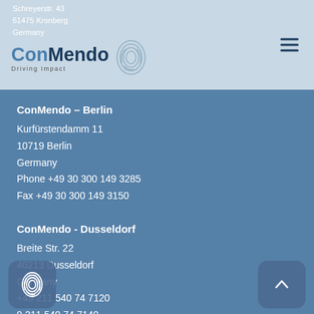Schreyerstr. 43
61475 Kronberg
Germany
[Figure (logo): ConMendo logo with fingerprint graphic and tagline 'Driving Impact']
ConMendo – Berlin
Kurfürstendamm 11
10719 Berlin
Germany
Phone +49 30 300 149 3285
Fax +49 30 300 149 3150
ConMendo - Dusseldorf
Breite Str. 22
40213 Dusseldorf
Germany
Phone +49 211 540 74 7120
Fax +49 211 540 74 7140